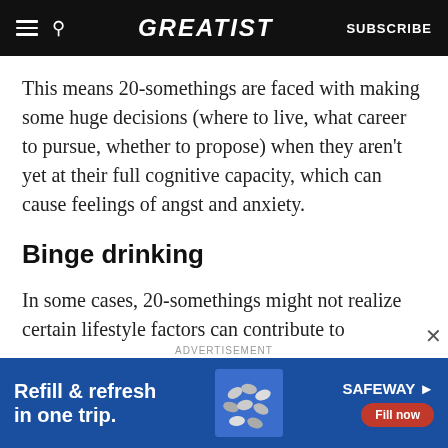GREATIST | SUBSCRIBE
This means 20-somethings are faced with making some huge decisions (where to live, what career to pursue, whether to propose) when they aren't yet at their full cognitive capacity, which can cause feelings of angst and anxiety.
Binge drinking
In some cases, 20-somethings might not realize certain lifestyle factors can contribute to
ADVERTISEMENT
[Figure (other): Safeway advertisement banner: 'Refill & refresh in one trip.' with a Fill now button and pill imagery]